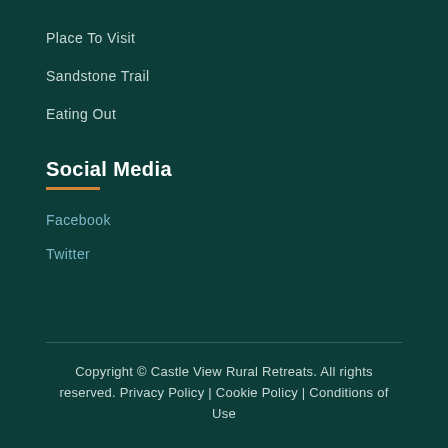Place To Visit
Sandstone Trail
Eating Out
Social Media
Facebook
Twitter
Copyright © Castle View Rural Retreats. All rights reserved. Privacy Policy | Cookie Policy | Conditions of Use